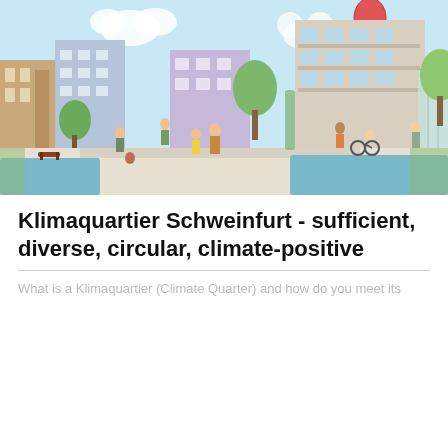[Figure (illustration): Colorful illustrated urban scene showing a 'Klimaquartier' (climate quarter) in Schweinfurt. People of various ages engage in outdoor activities in a mixed-use neighborhood with modern buildings, trees, water features, a hot air balloon, and cyclists. Vibrant, cheerful illustration style.]
Klimaquartier Schweinfurt - sufficient, diverse, circular, climate-positive
In order to optimize our website and to be able to continuously improve it, we use cookies By continuing to use the website, you agree to the use of cookies. Further information.
OKI